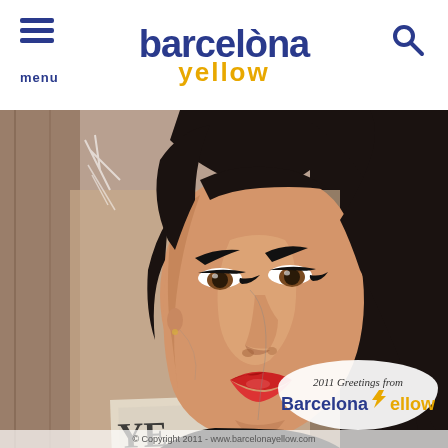barcelona yellow — menu / search
[Figure (illustration): Street art / graffiti mural portrait of a woman with dark hair, bold eyebrows, and red lips painted on a weathered wall with torn posters. Lower right corner contains a 2011 Greetings from Barcelona Yellow watermark badge.]
© Copyright 2011 - www.barcelonayellow.com